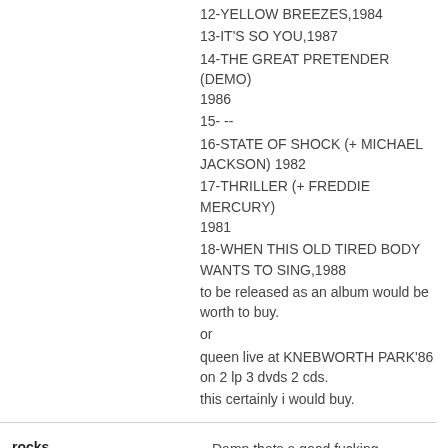12-YELLOW BREEZES,1984
13-IT'S SO YOU,1987
14-THE GREAT PRETENDER (DEMO) 1986
15- --
16-STATE OF SHOCK (+ MICHAEL JACKSON) 1982
17-THRILLER (+ FREDDIE MERCURY) 1981
18-WHEN THIS OLD TIRED BODY WANTS TO SING,1988
to be released as an album would be worth to buy.
or
queen live at KNEBWORTH PARK'86 on 2 lp 3 dvds 2 cds.
this certainly i would buy.
rocks.
27.07.2006 16:21
Damn thats a good fucking tracklist.. But people at QP go for the comercial "money making" stuff..